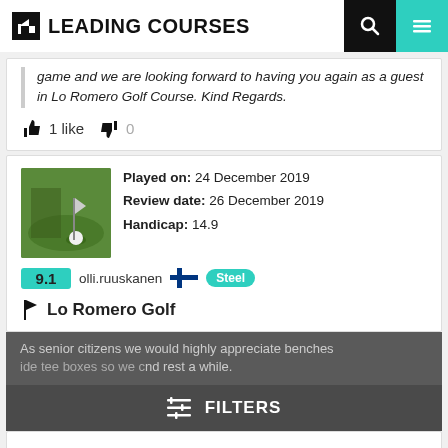LEADING COURSES
game and we are looking forward to having you again as a guest in Lo Romero Golf Course. Kind Regards.
1 like  0
Played on: 24 December 2019
Review date: 26 December 2019
Handicap: 14.9
9.1  olli.ruuskanen  Steel
Lo Romero Golf
As senior citizens we would highly appreciate benches beside tee boxes so we could rest a while.
FILTERS
1 like  0